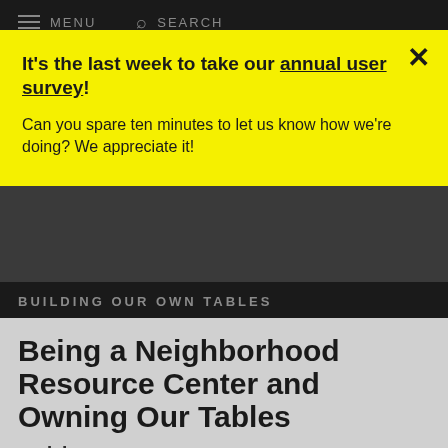MENU  SEARCH
It's the last week to take our annual user survey! Can you spare ten minutes to let us know how we're doing? We appreciate it!
BUILDING OUR OWN TABLES
Being a Neighborhood Resource Center and Owning Our Tables
With Teresa